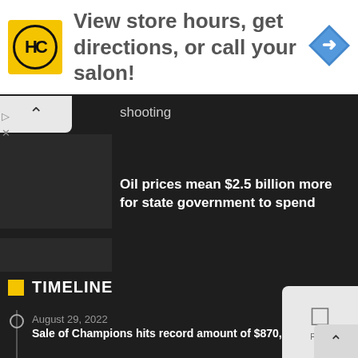[Figure (infographic): Advertisement banner: HC logo (yellow circle with HC text), tagline 'View store hours, get directions, or call your salon!', navigation arrow icon on right]
shooting
Oil prices mean $2.5 billion more for state government to spend
COMMUNITY VOICES Election security and integrity in New Mexico
TIMELINE
August 29, 2022
Sale of Champions hits record amount of $870,355